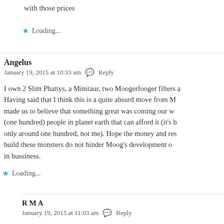with those prices
★ Loading...
Angelus
January 19, 2015 at 10:33 am  Reply
I own 2 Slim Phattys, a Minitaur, two Moogerfooger filters a... Having said that I think this is a quite absurd move from M... made us to believe that something great was coming our w... (one hundred) people in planet earth that can afford it (it's b... only around one hundred, not me). Hope the money and res... build these monsters do not hinder Moog's development o... in bussiness.
★ Loading...
R M A
January 19, 2015 at 11:03 am  Reply